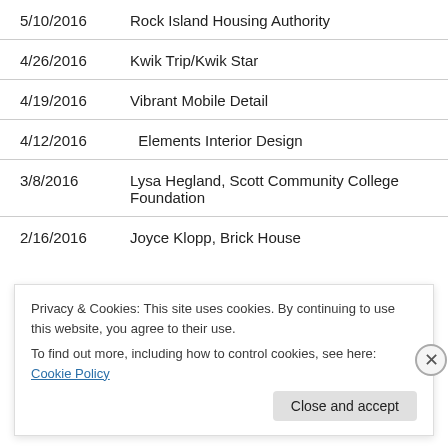5/10/2016	Rock Island Housing Authority
4/26/2016	Kwik Trip/Kwik Star
4/19/2016	Vibrant Mobile Detail
4/12/2016	Elements Interior Design
3/8/2016	Lysa Hegland, Scott Community College Foundation
2/16/2016	Joyce Klopp, Brick House
Privacy & Cookies: This site uses cookies. By continuing to use this website, you agree to their use.
To find out more, including how to control cookies, see here: Cookie Policy
Close and accept